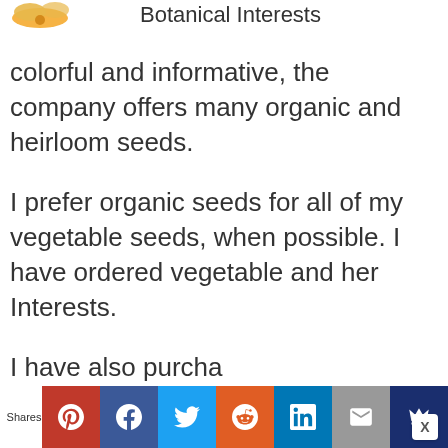[Figure (logo): Partial logo image with orange/yellow graphic in top left corner]
Botanical Interests
colorful and informative, the company offers many organic and heirloom seeds.
I prefer organic seeds for all of my vegetable seeds, when possible. I have ordered vegetable and her Interests.
I have also purcha flowers and even grew perennial flowers. Botanical Interests seeds arrive with clear
Shares [social share buttons: Pinterest, Facebook, Twitter, Reddit, LinkedIn, Email, Crown]